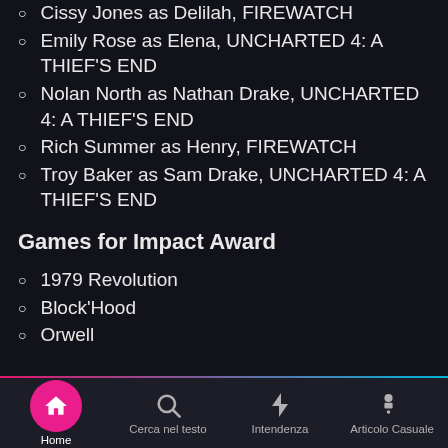Cissy Jones as Delilah, FIREWATCH
Emily Rose as Elena, UNCHARTED 4: A THIEF'S END
Nolan North as Nathan Drake, UNCHARTED 4: A THIEF'S END
Rich Summer as Henry, FIREWATCH
Troy Baker as Sam Drake, UNCHARTED 4: A THIEF'S END
Games for Impact Award
1979 Revolution
Block'Hood
Orwell
Home | Cerca nel testo | Intendenza | Articolo Casuale